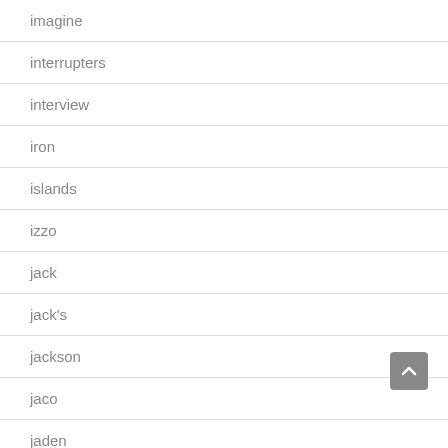imagine
interrupters
interview
iron
islands
izzo
jack
jack's
jackson
jaco
jaden
jake